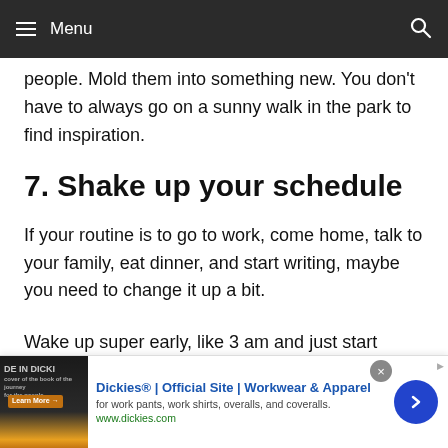Menu
people. Mold them into something new. You don't have to always go on a sunny walk in the park to find inspiration.
7. Shake up your schedule
If your routine is to go to work, come home, talk to your family, eat dinner, and start writing, maybe you need to change it up a bit.
Wake up super early, like 3 am and just start thinking about your story. Look for strange holes in the wall that
[Figure (screenshot): Advertisement banner for Dickies Official Site - Workwear & Apparel. Shows product image on left with dark background, ad text including title, subtitle about work pants/shirts/overalls/coveralls, URL www.dickies.com, and a blue circular arrow button on right.]